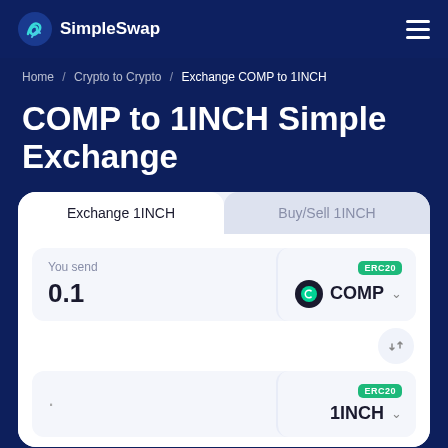SimpleSwap
Home / Crypto to Crypto / Exchange COMP to 1INCH
COMP to 1INCH Simple Exchange
[Figure (screenshot): Exchange widget with two tabs: Exchange 1INCH (active) and Buy/Sell 1INCH. Input field showing You send 0.1 COMP (ERC20), a swap button, and a receive field showing 1INCH (ERC20).]